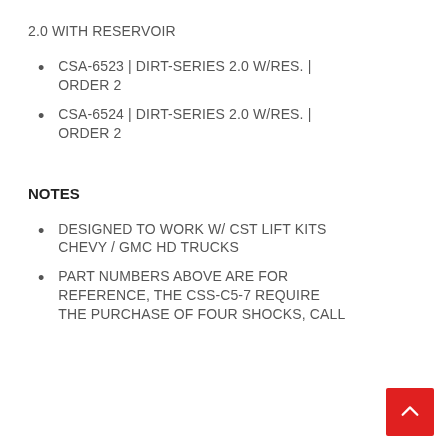2.0 WITH RESERVOIR
CSA-6523 | DIRT-SERIES 2.0 W/RES. | ORDER 2
CSA-6524 | DIRT-SERIES 2.0 W/RES. | ORDER 2
NOTES
DESIGNED TO WORK W/ CST LIFT KITS CHEVY / GMC HD TRUCKS
PART NUMBERS ABOVE ARE FOR REFERENCE, THE CSS-C5-7 REQUIRES THE PURCHASE OF FOUR SHOCKS, CALL